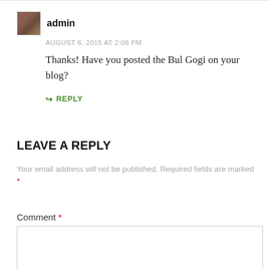admin
AUGUST 6, 2015 AT 2:08 PM
Thanks! Have you posted the Bul Gogi on your blog?
↪ REPLY
LEAVE A REPLY
Your email address will not be published. Required fields are marked *
Comment *